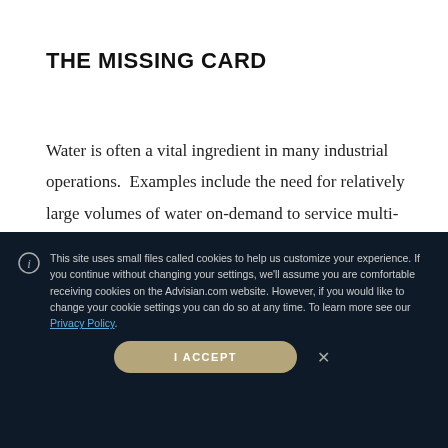THE MISSING CARD
Water is often a vital ingredient in many industrial operations.  Examples include the need for relatively large volumes of water on-demand to service multi-stage hydraulic fracturing
This site uses small files called cookies to help us customize your experience. If you continue without changing your settings, we'll assume you are comfortable receiving cookies on the Advisian.com website. However, if you would like to change your cookie settings you can do so at any time. To learn more see our Privacy Policy.